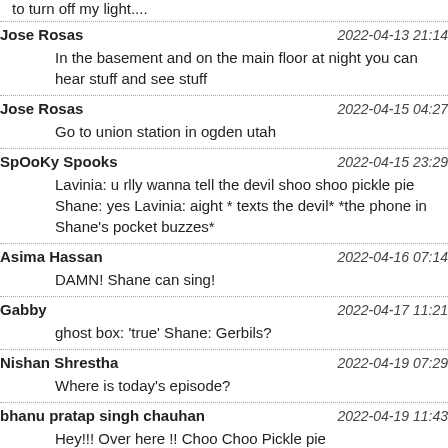to turn off my light....
Jose Rosas   2022-04-13 21:14
In the basement and on the main floor at night you can hear stuff and see stuff
Jose Rosas   2022-04-15 04:27
Go to union station in ogden utah
SpOoKy Spooks   2022-04-15 23:29
Lavinia: u rlly wanna tell the devil shoo shoo pickle pie Shane: yes Lavinia: aight * texts the devil* *the phone in Shane’s pocket buzzes*
Asima Hassan   2022-04-16 07:14
DAMN! Shane can sing!
Gabby   2022-04-17 11:21
ghost box: ‘true’ Shane: Gerbils?
Nishan Shrestha   2022-04-19 07:29
Where is today’s episode?
bhanu pratap singh chauhan   2022-04-19 11:43
Hey!!! Over here !! Choo Choo Pickle pie
ana briones   2022-04-21 11:02